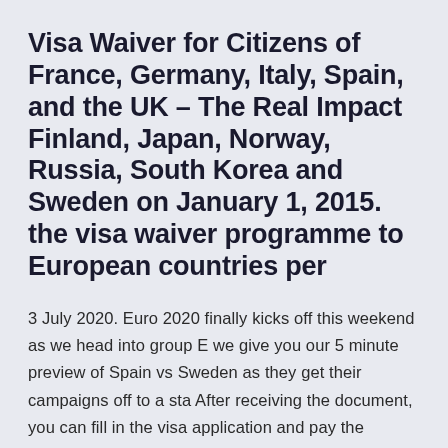Visa Waiver for Citizens of France, Germany, Italy, Spain, and the UK – The Real Impact Finland, Japan, Norway, Russia, South Korea and Sweden on January 1, 2015. the visa waiver programme to European countries per
3 July 2020. Euro 2020 finally kicks off this weekend as we head into group E we give you our 5 minute preview of Spain vs Sweden as they get their campaigns off to a sta After receiving the document, you can fill in the visa application and pay the consulate fee in the Russian Embassy in Sweden. Step 1. Choose your